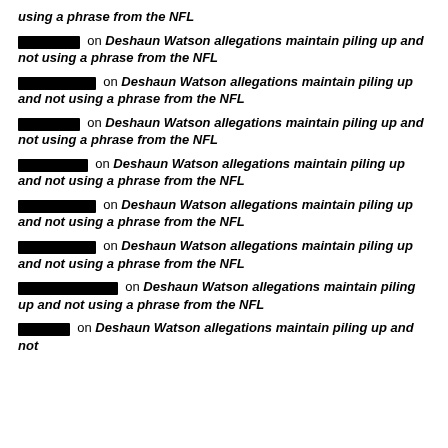[redacted] on Deshaun Watson allegations maintain piling up and not using a phrase from the NFL
[redacted] on Deshaun Watson allegations maintain piling up and not using a phrase from the NFL
[redacted] on Deshaun Watson allegations maintain piling up and not using a phrase from the NFL
[redacted] on Deshaun Watson allegations maintain piling up and not using a phrase from the NFL
[redacted] on Deshaun Watson allegations maintain piling up and not using a phrase from the NFL
[redacted] on Deshaun Watson allegations maintain piling up and not using a phrase from the NFL
[redacted] on Deshaun Watson allegations maintain piling up and not using a phrase from the NFL
[redacted] on Deshaun Watson allegations maintain piling up and not using a phrase from the NFL